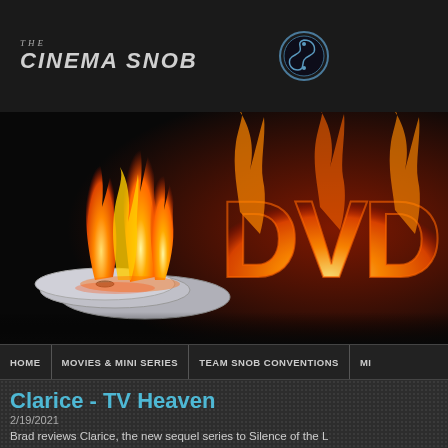THE CINEMA SNOB
[Figure (logo): The Cinema Snob logo with stylized text and a shield/badge icon]
[Figure (illustration): DVD banner image showing burning DVDs on the left with orange flames and 'DVD' text in fire letters on the right against a dark background]
HOME | MOVIES & MINI SERIES | TEAM SNOB CONVENTIONS | MI...
Clarice - TV Heaven
2/19/2021
Brad reviews Clarice, the new sequel series to Silence of the L...